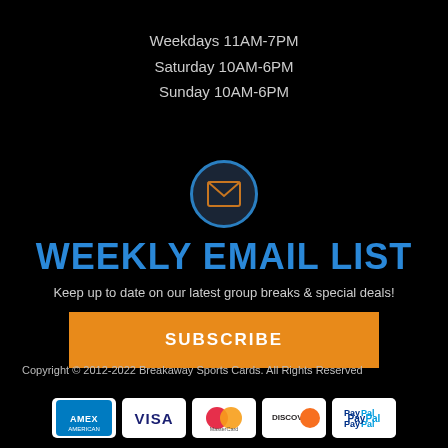Weekdays 11AM-7PM
Saturday 10AM-6PM
Sunday 10AM-6PM
[Figure (illustration): Blue circular icon with envelope/mail symbol inside, representing email subscription]
WEEKLY EMAIL LIST
Keep up to date on our latest group breaks & special deals!
SUBSCRIBE
Copyright © 2012-2022 Breakaway Sports Cards. All Rights Reserved
[Figure (illustration): Payment method logos: AMEX, VISA, MasterCard, DISCOVER, PayPal]